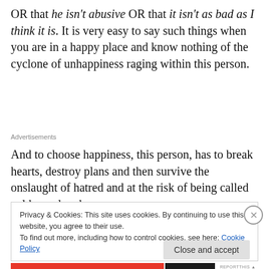OR that he isn't abusive OR that it isn't as bad as I think it is. It is very easy to say such things when you are in a happy place and know nothing of the cyclone of unhappiness raging within this person.
Advertisements
And to choose happiness, this person, has to break hearts, destroy plans and then survive the onslaught of hatred and at the risk of being called cold, cruel and
Privacy & Cookies: This site uses cookies. By continuing to use this website, you agree to their use.
To find out more, including how to control cookies, see here: Cookie Policy
Close and accept